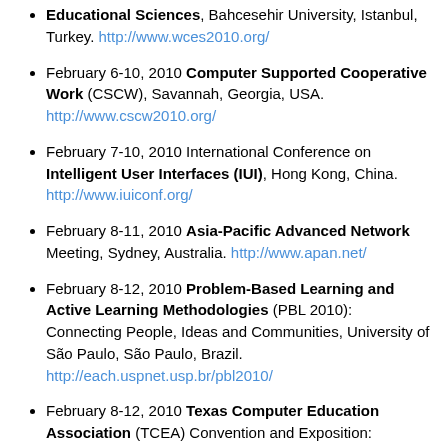Educational Sciences, Bahcesehir University, Istanbul, Turkey. http://www.wces2010.org/
February 6-10, 2010 Computer Supported Cooperative Work (CSCW), Savannah, Georgia, USA. http://www.cscw2010.org/
February 7-10, 2010 International Conference on Intelligent User Interfaces (IUI), Hong Kong, China. http://www.iuiconf.org/
February 8-11, 2010 Asia-Pacific Advanced Network Meeting, Sydney, Australia. http://www.apan.net/
February 8-12, 2010 Problem-Based Learning and Active Learning Methodologies (PBL 2010): Connecting People, Ideas and Communities, University of São Paulo, São Paulo, Brazil. http://each.uspnet.usp.br/pbl2010/
February 8-12, 2010 Texas Computer Education Association (TCEA) Convention and Exposition: